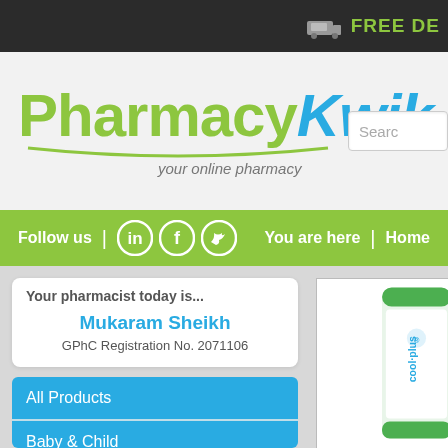FREE DE
[Figure (logo): PharmacyKwik logo with tagline 'your online pharmacy']
Follow us | [LinkedIn] [Facebook] [Twitter] | You are here | Home
Your pharmacist today is...
Mukaram Sheikh
GPhC Registration No. 2071106
All Products
Baby & Child
Medicines
Health
[Figure (photo): Product bottle/can partially visible on right side]